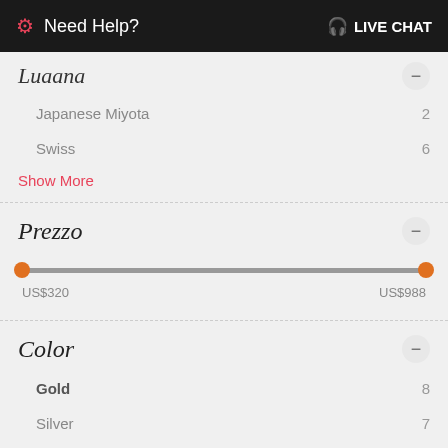Need Help?  LIVE CHAT
Luaana
Japanese Miyota  2
Swiss  6
Show More
Prezzo
[Figure (other): Price range slider from US$320 to US$988]
Color
Gold  8
Silver  7
Two-Toned  4
Show More